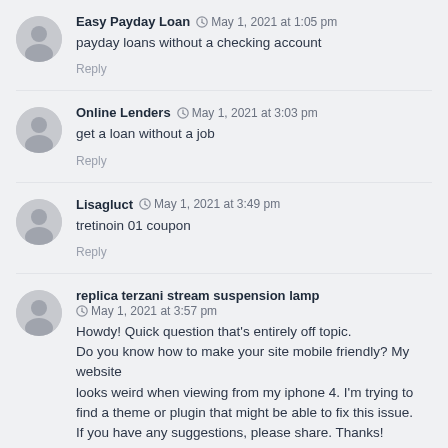Easy Payday Loan · May 1, 2021 at 1:05 pm — payday loans without a checking account — Reply
Online Lenders · May 1, 2021 at 3:03 pm — get a loan without a job — Reply
Lisagluct · May 1, 2021 at 3:49 pm — tretinoin 01 coupon — Reply
replica terzani stream suspension lamp · May 1, 2021 at 3:57 pm — Howdy! Quick question that's entirely off topic. Do you know how to make your site mobile friendly? My website looks weird when viewing from my iphone 4. I'm trying to find a theme or plugin that might be able to fix this issue. If you have any suggestions, please share. Thanks! — Reply